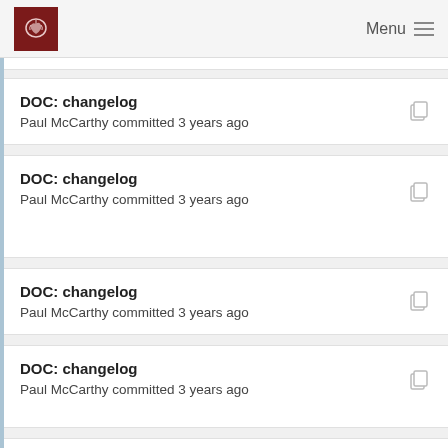Menu
DOC: changelog
Paul McCarthy committed 3 years ago
DOC: changelog
Paul McCarthy committed 3 years ago
DOC: changelog
Paul McCarthy committed 3 years ago
DOC: changelog
Paul McCarthy committed 3 years ago
DOC: changelog
Paul McCarthy committed 3 years ago